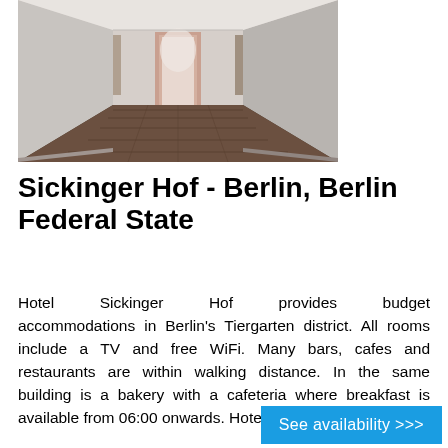[Figure (photo): Interior hallway/corridor of a hotel with dark wood laminate flooring, light grey/white walls, and a perspective view showing doorways receding into the distance. A door with a pink/salmon colored frame is visible at the far end.]
Sickinger Hof - Berlin, Berlin Federal State
Hotel Sickinger Hof provides budget accommodations in Berlin's Tiergarten district. All rooms include a TV and free WiFi. Many bars, cafes and restaurants are within walking distance. In the same building is a bakery with a cafeteria where breakfast is available from 06:00 onwards. Hotel Sicki...